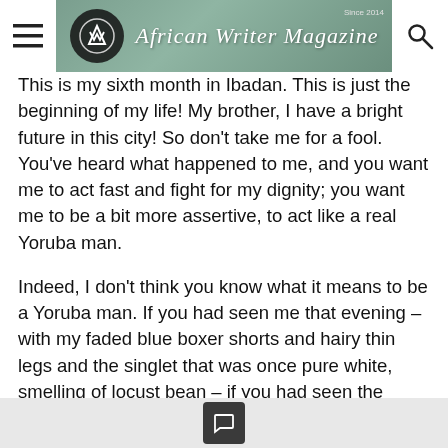African Writer Magazine — Since 2014
This is my sixth month in Ibadan. This is just the beginning of my life! My brother, I have a bright future in this city! So don't take me for a fool. You've heard what happened to me, and you want me to act fast and fight for my dignity; you want me to be a bit more assertive, to act like a real Yoruba man.
Indeed, I don't think you know what it means to be a Yoruba man. If you had seen me that evening – with my faded blue boxer shorts and hairy thin legs and the singlet that was once pure white, smelling of locust bean – if you had seen the glamour I was up against, you would have praised me for being an akinkanju.